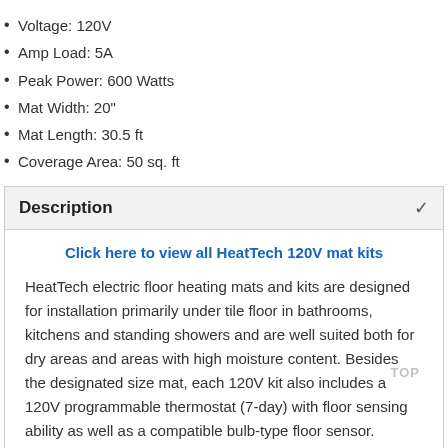Voltage: 120V
Amp Load: 5A
Peak Power: 600 Watts
Mat Width: 20"
Mat Length: 30.5 ft
Coverage Area: 50 sq. ft
Description
Click here to view all HeatTech 120V mat kits
HeatTech electric floor heating mats and kits are designed for installation primarily under tile floor in bathrooms, kitchens and standing showers and are well suited both for dry areas and areas with high moisture content. Besides the designated size mat, each 120V kit also includes a 120V programmable thermostat (7-day) with floor sensing ability as well as a compatible bulb-type floor sensor.